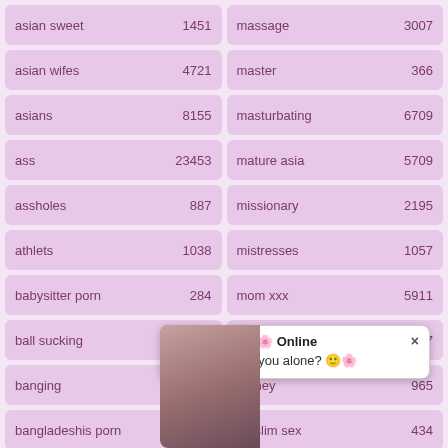| keyword | count |
| --- | --- |
| asian sweet | 1451 |
| massage | 3007 |
| asian wifes | 4721 |
| master | 366 |
| asians | 8155 |
| masturbating | 6709 |
| ass | 23453 |
| mature asia | 5709 |
| assholes | 887 |
| missionary | 2195 |
| athlets | 1038 |
| mistresses | 1057 |
| babysitter porn | 284 |
| mom xxx | 5911 |
| ball sucking | 1599 |
| mom-son | 777 |
| banging | 1090 |
| money | 965 |
| bangladeshis porn | 413 |
| muslim sex | 434 |
| bathroom sex | 629 |
| nasty fuck | 1613 |
| bdsm |  |
|  |  |
| beach |  |
|  |  |
| beautiful asians | 2370 |
| next door | 527 |